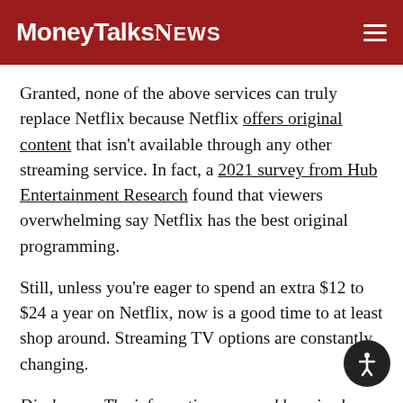MoneyTalksNEWS
Granted, none of the above services can truly replace Netflix because Netflix offers original content that isn't available through any other streaming service. In fact, a 2021 survey from Hub Entertainment Research found that viewers overwhelming say Netflix has the best original programming.
Still, unless you're eager to spend an extra $12 to $24 a year on Netflix, now is a good time to at least shop around. Streaming TV options are constantly changing.
Disclosure: The information you read here is always objective. However, we sometimes receive compensation when you click links within our stories.